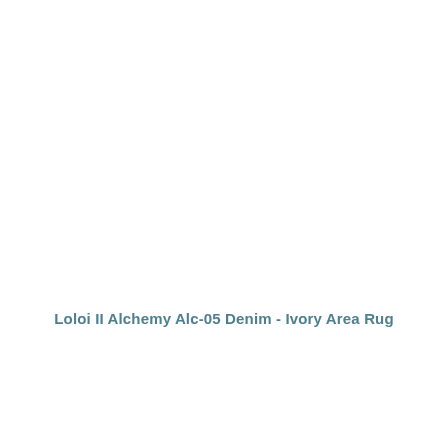Loloi II Alchemy Alc-05 Denim - Ivory Area Rug